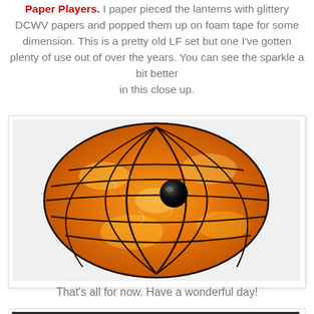Paper Players.  I paper pieced the lanterns with glittery DCWV papers and popped them up on foam tape for some dimension.  This is a pretty old LF set but one I've gotten plenty of use out of over the years.  You can see the sparkle a bit better in this close up.
[Figure (photo): Close-up photo of a glittery orange paper-pieced lantern with a black bead in the center, showing intricate petal/flower patterns with dark grid lines on a glittery orange background.]
That's all for now.  Have a wonderful day!
[Figure (photo): Partial view of a dark chalkboard-style banner/badge with teal ribbon and text reading 'Lawnscaping Challenge' with red heart embellishments.]